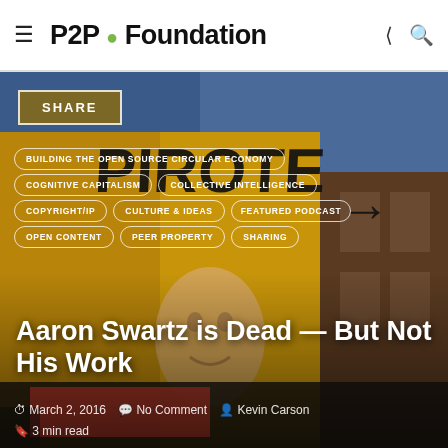P2P Foundation
[Figure (photo): Street mural photo showing a building with large graffiti text reading 'PIROTES' and a face mural, used as hero background image for article]
SHARE
BUILDING THE OPEN SOURCE CIRCULAR ECONOMY
COGNITIVE CAPITALISM
COLLECTIVE INTELLIGENCE
COPYRIGHT/IP
CULTURE & IDEAS
FEATURED PODCAST
OPEN CONTENT
PEER PROPERTY
SHARING
Aaron Swartz is Dead — But Not His Work
March 2, 2016   No Comment   Kevin Carson
3 min read